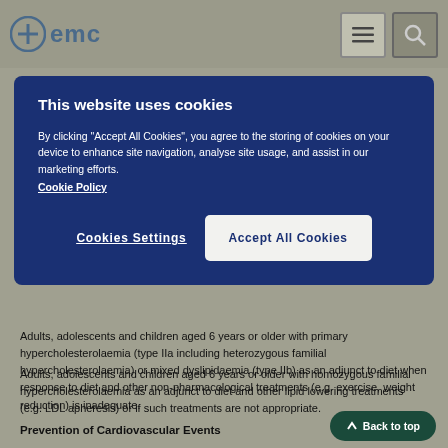[Figure (logo): EMC (electronic medicines compendium) logo with cross icon]
This website uses cookies

By clicking "Accept All Cookies", you agree to the storing of cookies on your device to enhance site navigation, analyse site usage, and assist in our marketing efforts. Cookie Policy
Adults, adolescents and children aged 6 years or older with primary hypercholesterolaemia (type IIa including heterozygous familial hypercholesterolaemia) or mixed dyslipidaemia (type IIb) as an adjunct to diet when response to diet and other non-pharmacological treatments (e.g. exercise, weight reduction) is inadequate.
Adults, adolescents and children aged 6 years or older with homozygous familial hypercholesterolaemia as an adjunct to diet and other lipid lowering treatments (e.g. LDL apheresis) or if such treatments are not appropriate.
Prevention of Cardiovascular Events